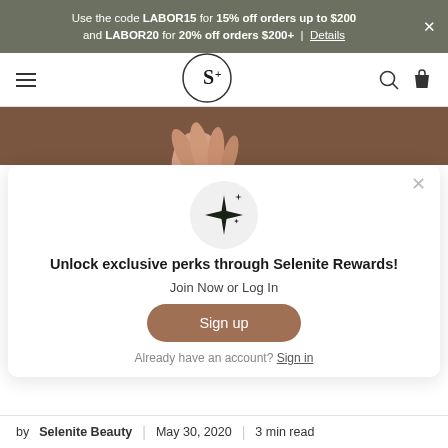Use the code LABOR15 for 15% off orders up to $200 and LABOR20 for 20% off orders $200+ | Details
[Figure (logo): Selenite+ logo — stylized S+ inside a circle]
[Figure (photo): Partial view of a hand against a brown/tan background — product photo]
[Figure (illustration): Sparkle/star icon inside a light gray circle]
Unlock exclusive perks through Selenite Rewards!
Join Now or Log In
Sign up
Already have an account? Sign in
by Selenite Beauty | May 30, 2020 | 3 min read